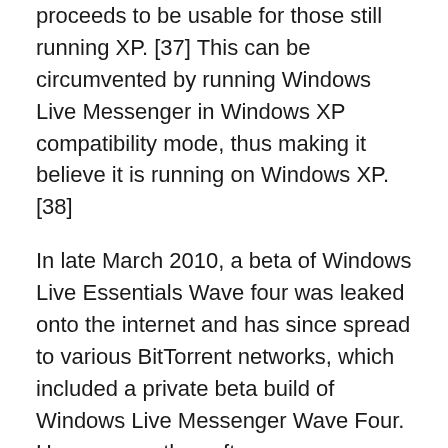proceeds to be usable for those still running XP. [37] This can be circumvented by running Windows Live Messenger in Windows XP compatibility mode, thus making it believe it is running on Windows XP. [38]
In late March 2010, a beta of Windows Live Essentials Wave four was leaked onto the internet and has since spread to various BitTorrent networks, which included a private beta build of Windows Live Messenger Wave Four. However, as the software was designed for private beta testing, non-beta testers cannot sign into this leaked build. [39]
The fresh software features a revamped interface which brings the "What's fresh" section of Windows Live to the fresh "social pane", similar to the way a social networking site presents updates. Among the fresh features are tabbed conversations, a redesign of the old contact and integration of Bing results built in...